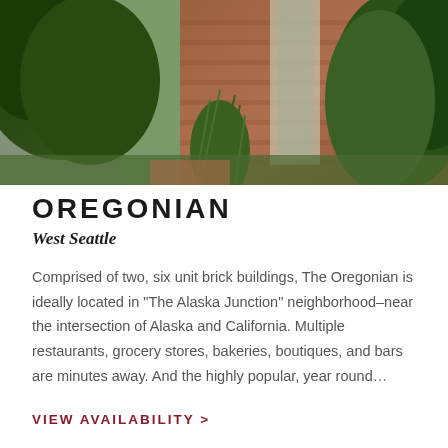[Figure (photo): Exterior photo of a brick apartment building with lush green foliage, tall ornamental grasses, and shrubs surrounding the entrance with a light-colored door frame]
OREGONIAN
West Seattle
Comprised of two, six unit brick buildings, The Oregonian is ideally located in "The Alaska Junction" neighborhood–near the intersection of Alaska and California. Multiple restaurants, grocery stores, bakeries, boutiques, and bars are minutes away. And the highly popular, year round…
VIEW AVAILABILITY >